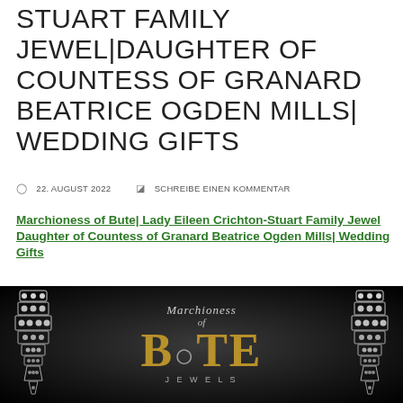STUART FAMILY JEWEL|DAUGHTER OF COUNTESS OF GRANARD BEATRICE OGDEN MILLS| WEDDING GIFTS
22. AUGUST 2022   SCHREIBE EINEN KOMMENTAR
Marchioness of Bute| Lady Eileen Crichton-Stuart Family Jewel Daughter of Countess of Granard Beatrice Ogden Mills| Wedding Gifts
[Figure (photo): Dark background image showing diamond/crystal earrings on left and right sides with 'Marchioness of BUTE JEWELS' logo text in center, gold and silver lettering]